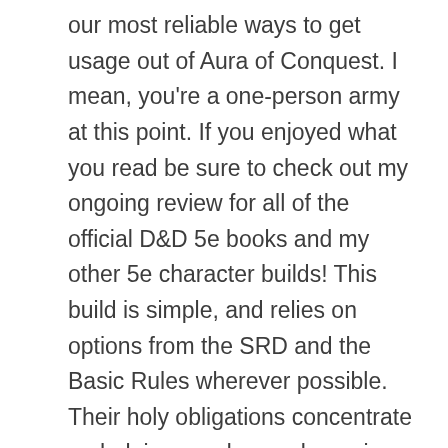our most reliable ways to get usage out of Aura of Conquest. I mean, you're a one-person army at this point. If you enjoyed what you read be sure to check out my ongoing review for all of the official D&D 5e books and my other 5e character builds! This build is simple, and relies on options from the SRD and the Basic Rules wherever possible. Their holy obligations concentrate on helping needy people, caring for the world, or extinguishing malevolent. There's not much that we need from it and it's better to just rely on another party member to pick up the Intelligence skill checks. Oath of Conquest Paladins gets both an AoE crowd control and a single-target damage enhancement Channel